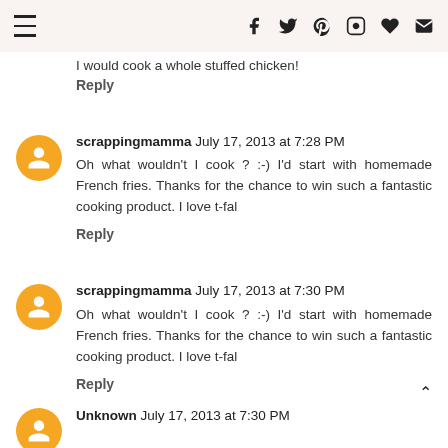Navigation menu and social icons: f, twitter, pinterest, instagram, heart, email
I would cook a whole stuffed chicken!
Reply
scrappingmamma July 17, 2013 at 7:28 PM
Oh what wouldn't I cook ? :-) I'd start with homemade French fries. Thanks for the chance to win such a fantastic cooking product. I love t-fal
Reply
scrappingmamma July 17, 2013 at 7:30 PM
Oh what wouldn't I cook ? :-) I'd start with homemade French fries. Thanks for the chance to win such a fantastic cooking product. I love t-fal
Reply
Unknown July 17, 2013 at 7:30 PM